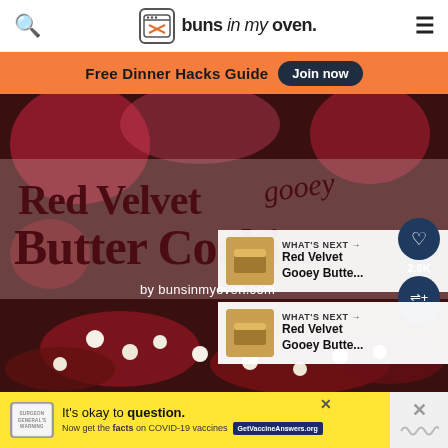buns in my oven.
Free Dinner Hacks Guide  Join now
[Figure (photo): Red Velvet Gooey Butter Cookies styled food photography by bunsinmyoven.com, with red velvet cookies topped with white chocolate chips on a dark background]
2.6K
WHAT'S NEXT → Red Velvet Gooey Butte...
It's okay to question. Now get the facts on COVID-19 vaccines  GetVaccineAnswers.org